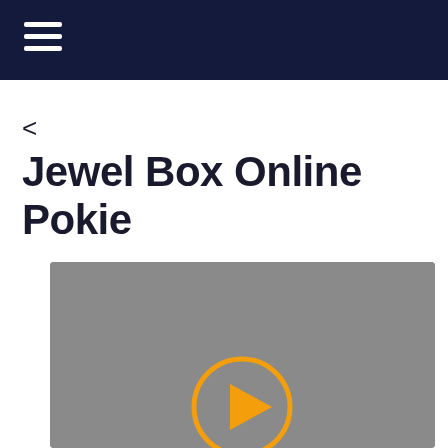<
Jewel Box Online Pokie
[Figure (screenshot): Video thumbnail placeholder with grey background and an orange play button circle in the center-bottom area]